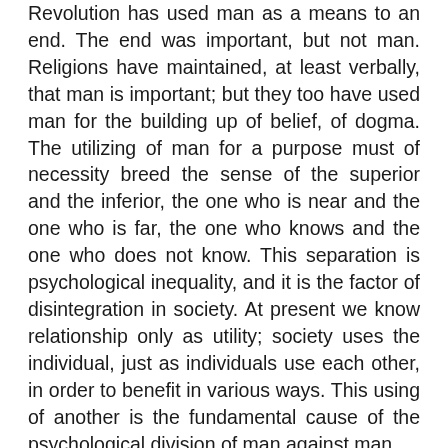Revolution has used man as a means to an end. The end was important, but not man. Religions have maintained, at least verbally, that man is important; but they too have used man for the building up of belief, of dogma. The utilizing of man for a purpose must of necessity breed the sense of the superior and the inferior, the one who is near and the one who is far, the one who knows and the one who does not know. This separation is psychological inequality, and it is the factor of disintegration in society. At present we know relationship only as utility; society uses the individual, just as individuals use each other, in order to benefit in various ways. This using of another is the fundamental cause of the psychological division of man against man.
We cease to use one another only when idea is not the motivating factor in relationship. With idea comes exploitation, and exploitation breeds antagonism. "Then what is the factor that comes into being when idea ceases?"
It is love, the only factor that can bring about a